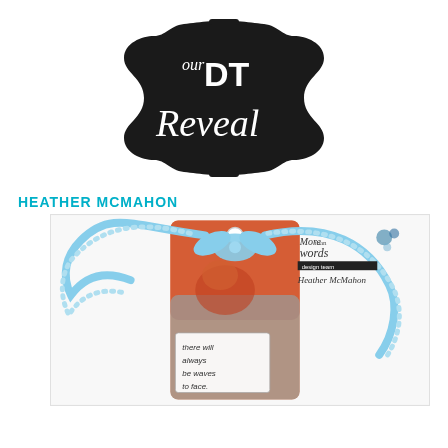[Figure (logo): Black decorative badge/label shape with ornate borders containing the text 'our DT Reveal' in white script and bold lettering]
HEATHER MCMAHON
[Figure (photo): Craft tag with blue polka-dot ribbon bow, watercolor orange/red background with bird, small label reading 'there will always be waves to face', More Than Words design team branding with Heather McMahon signature in top right corner]